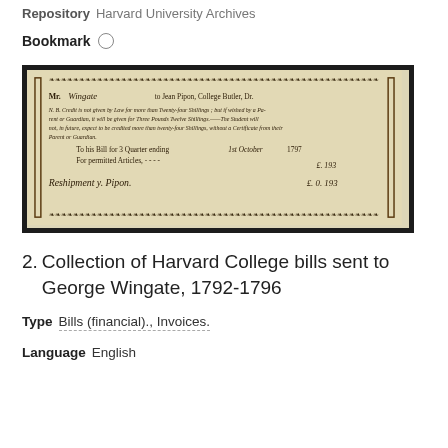Repository   Harvard University Archives
Bookmark  ○
[Figure (photo): Scanned image of a historical Harvard College bill from 1792, addressed to Mr. Wingate from Jean Pipon, College Butler. Handwritten text includes 'To his Bill for 3 Quarter ending 1st October 1797 For permitted Articles' with a monetary amount and signature 'Reshipment y Pipon £.0.193'. Decorative border surrounds the document.]
2.  Collection of Harvard College bills sent to George Wingate, 1792-1796
Type   Bills (financial)., Invoices.
Language   English